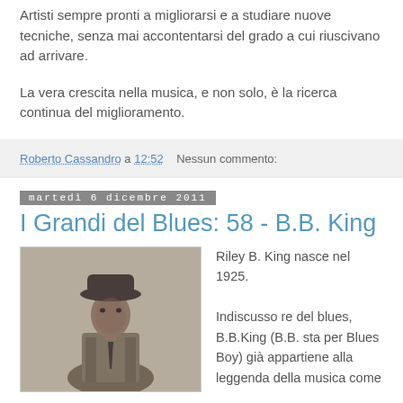Artisti sempre pronti a migliorarsi e a studiare nuove tecniche, senza mai accontentarsi del grado a cui riuscivano ad arrivare.
La vera crescita nella musica, e non solo, è la ricerca continua del miglioramento.
Roberto Cassandro a 12:52    Nessun commento:
martedì 6 dicembre 2011
I Grandi del Blues: 58 - B.B. King
[Figure (photo): Black and white photo of a young B.B. King wearing a hat and suit]
Riley B. King nasce nel 1925.

Indiscusso re del blues, B.B.King (B.B. sta per Blues Boy) già appartiene alla leggenda della musica come